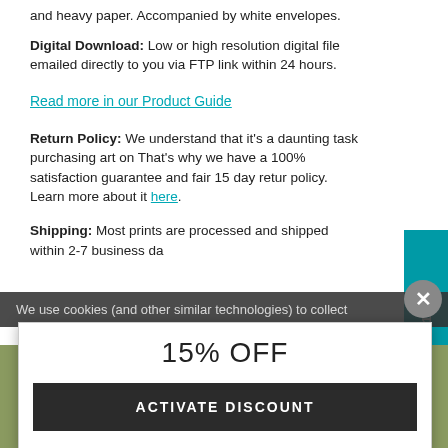and heavy paper. Accompanied by white envelopes.
Digital Download: Low or high resolution digital file emailed directly to you via FTP link within 24 hours.
Read more in our Product Guide
Return Policy: We understand that it's a daunting task purchasing art on [line]. That's why we have a 100% satisfaction guarantee and fair 15 day return policy. Learn more about it here.
Shipping: Most prints are processed and shipped within 2-7 business da[ys].
We use cookies (and other similar technologies) to collect
15% OFF
ACTIVATE DISCOUNT